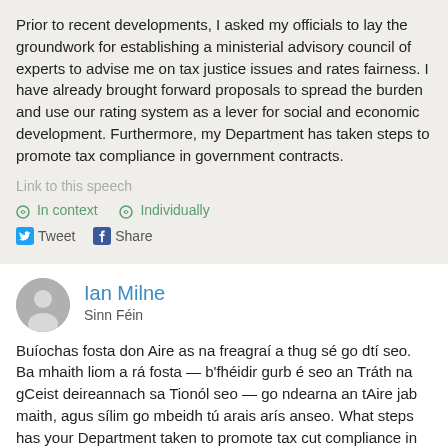Prior to recent developments, I asked my officials to lay the groundwork for establishing a ministerial advisory council of experts to advise me on tax justice issues and rates fairness. I have already brought forward proposals to spread the burden and use our rating system as a lever for social and economic development. Furthermore, my Department has taken steps to promote tax compliance in government contracts.
Link to this speech
In context  Individually
Tweet  Share
Ian Milne
Sinn Féin
Buíochas fosta don Aire as na freagraí a thug sé go dtí seo. Ba mhaith liom a rá fosta — b'fhéidir gurb é seo an Tráth na gCeist deireannach sa Tionól seo — go ndearna an tAire jab maith, agus sílim go mbeidh tú arais arís anseo. What steps has your Department taken to promote tax cut compliance in government contracts?
Link to this speech